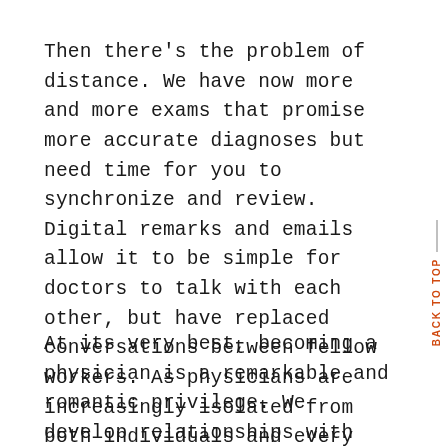Then there's the problem of distance. We have now more and more exams that promise more accurate diagnoses but need time for you to synchronize and review. Digital remarks and emails allow it to be simple for doctors to talk with each other, but have replaced conversations between fellow workers. As physicians are increasingly isolated from both individuals and every other, they may have turn out to be demoralized and burned out.
At its very best, becoming a physician is a remarkable and romantic privilege. We develop relationships with our sufferers and discover them